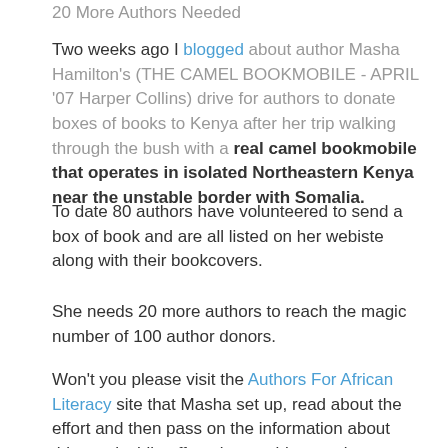20 More Authors Needed
Two weeks ago I blogged about author Masha Hamilton's (THE CAMEL BOOKMOBILE - APRIL '07 Harper Collins) drive for authors to donate boxes of books to Kenya after her trip walking through the bush with a real camel bookmobile that operates in isolated Northeastern Kenya near the unstable border with Somalia.
To date 80 authors have volunteered to send a box of book and are all listed on her webiste along with their bookcovers.
She needs 20 more authors to reach the magic number of 100 author donors.
Won't you please visit the Authors For African Literacy site that Masha set up, read about the effort and then pass on the information about this worthwhile effort via your blogs, writers groups, agents and publishers and see if we can't get just 20 more author donors.